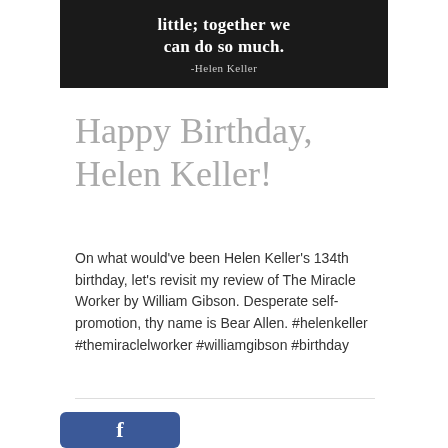[Figure (illustration): Black and white image with white text showing a quote: 'little; together we can do so much. -Helen Keller']
Happy Birthday, Helen Keller!
On what would've been Helen Keller's 134th birthday, let's revisit my review of The Miracle Worker by William Gibson. Desperate self-promotion, thy name is Bear Allen. #helenkeller #themiraclelworker #williamgibson #birthday